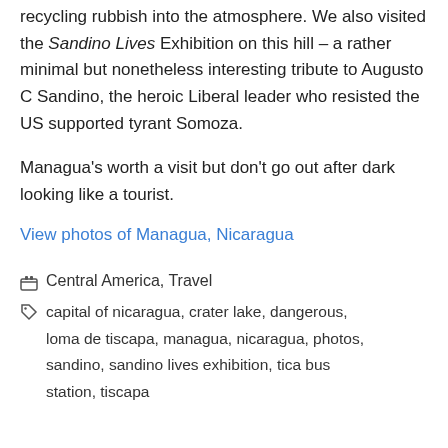recycling rubbish into the atmosphere. We also visited the Sandino Lives Exhibition on this hill – a rather minimal but nonetheless interesting tribute to Augusto C Sandino, the heroic Liberal leader who resisted the US supported tyrant Somoza.
Managua's worth a visit but don't go out after dark looking like a tourist.
View photos of Managua, Nicaragua
Central America, Travel
capital of nicaragua, crater lake, dangerous, loma de tiscapa, managua, nicaragua, photos, sandino, sandino lives exhibition, tica bus station, tiscapa